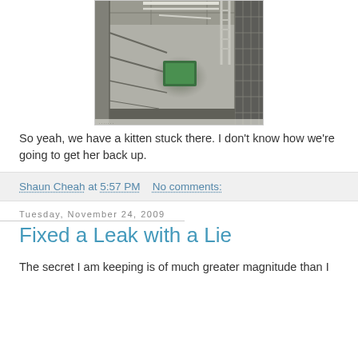[Figure (photo): Interior photo of an industrial tunnel or utility corridor showing concrete walls, metal ladder, pipes, mesh fencing, and a green glow at the far end.]
So yeah, we have a kitten stuck there. I don't know how we're going to get her back up.
Shaun Cheah at 5:57 PM   No comments:
Tuesday, November 24, 2009
Fixed a Leak with a Lie
The secret I am keeping is of much greater magnitude than I